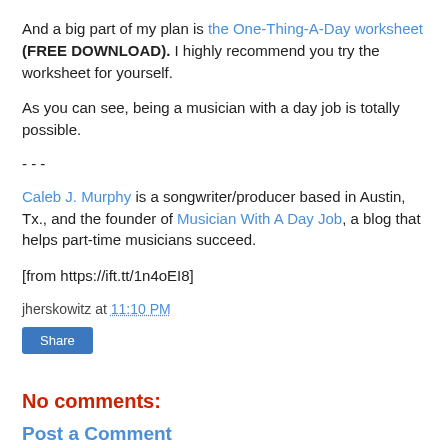And a big part of my plan is the One-Thing-A-Day worksheet (FREE DOWNLOAD). I highly recommend you try the worksheet for yourself.
As you can see, being a musician with a day job is totally possible.
- - -
Caleb J. Murphy is a songwriter/producer based in Austin, Tx., and the founder of Musician With A Day Job, a blog that helps part-time musicians succeed.
[from https://ift.tt/1n4oEI8]
jherskowitz at 11:10 PM
Share
No comments:
Post a Comment